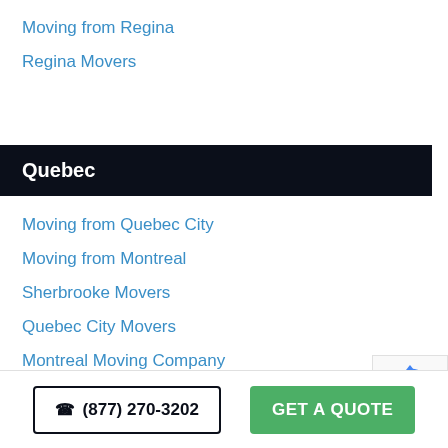Moving from Regina
Regina Movers
Quebec
Moving from Quebec City
Moving from Montreal
Sherbrooke Movers
Quebec City Movers
Montreal Moving Company
Montreal Movers
[Figure (other): reCAPTCHA badge with robot icon]
☎ (877) 270-3202
GET A QUOTE